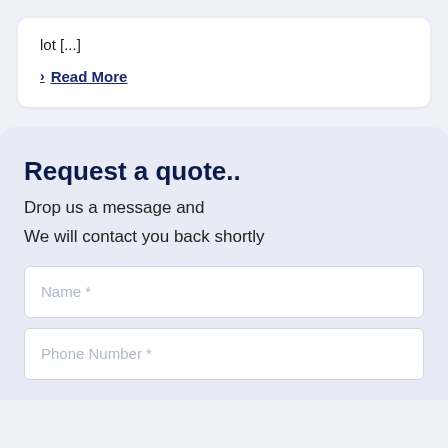lot [...]
> Read More
Request a quote..
Drop us a message and
We will contact you back shortly
Name *
Phone Number *